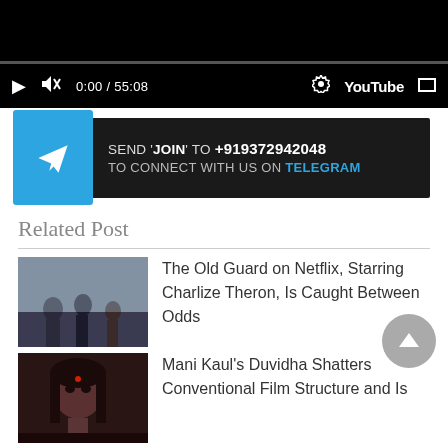[Figure (screenshot): YouTube video player embedded in webpage showing black screen with playback controls: play button, mute icon, timestamp '0:00 / 55:08', gear/settings icon, YouTube logo, fullscreen button. Progress bar visible above controls.]
[Figure (infographic): Telegram promotional banner with blue Telegram icon on left. Dark background with text: SEND 'JOIN' TO +919372942048 TO CONNECT WITH US ON TELEGRAM]
Related Post
[Figure (photo): Thumbnail image for 'The Old Guard on Netflix' article showing people in dark clothing]
The Old Guard on Netflix, Starring Charlize Theron, Is Caught Between Odds
[Figure (photo): Thumbnail image for 'Mani Kaul's Duvidha' article showing a woman's face with bindi]
Mani Kaul's Duvidha Shatters Conventional Film Structure and Is